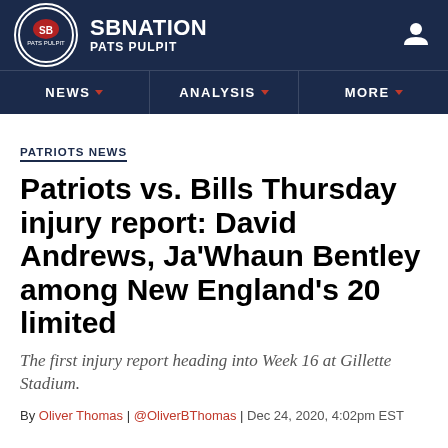SB NATION | PATS PULPIT
PATRIOTS NEWS
Patriots vs. Bills Thursday injury report: David Andrews, Ja'Whaun Bentley among New England's 20 limited
The first injury report heading into Week 16 at Gillette Stadium.
By Oliver Thomas | @OliverBThomas | Dec 24, 2020, 4:02pm EST